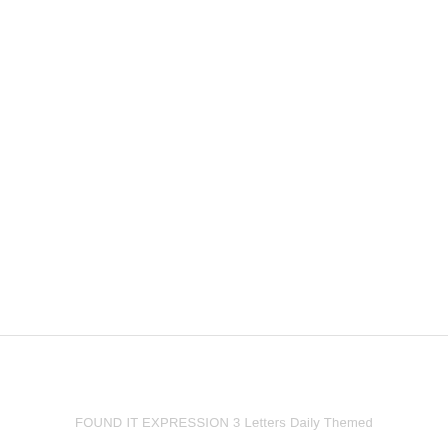FOUND IT EXPRESSION 3 Letters Daily Themed